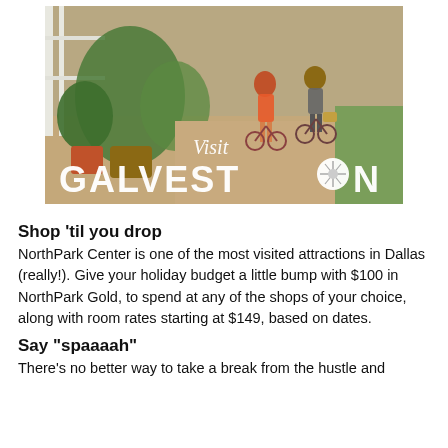[Figure (photo): Outdoor scene with tropical potted plants along a white picket fence on the left, and two people walking bicycles on a path on the right. Overlay text reads 'Visit GALVESTON' with a sand dollar replacing the 'O' in GALVESTON.]
Shop 'til you drop
NorthPark Center is one of the most visited attractions in Dallas (really!). Give your holiday budget a little bump with $100 in NorthPark Gold, to spend at any of the shops of your choice, along with room rates starting at $149, based on dates.
Say "spaaaah"
There's no better way to take a break from the hustle and